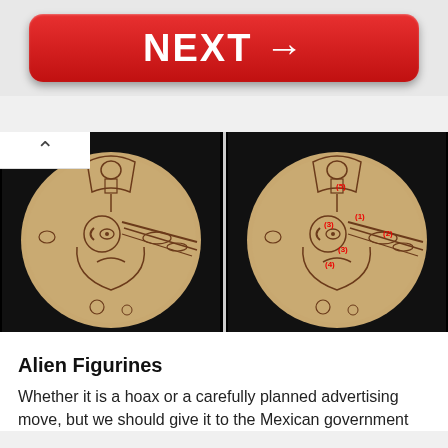[Figure (other): Red rounded rectangle button with white bold text 'NEXT →']
[Figure (photo): Two side-by-side photographs of an ancient engraved artifact (stone or bone disc) showing carved figures. The right image has red numbered annotations (1)-(5) marking specific areas of the engraving.]
Alien Figurines
Whether it is a hoax or a carefully planned advertising move, but we should give it to the Mexican government